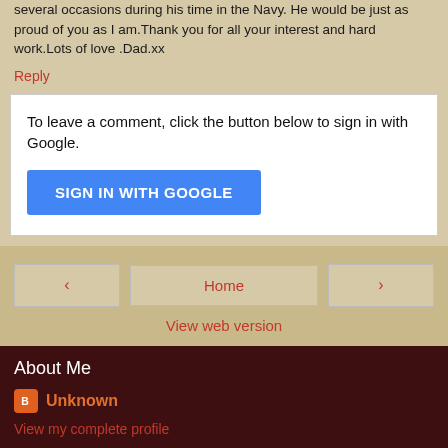several occasions during his time in the Navy. He would be just as proud of you as I am.Thank you for all your interest and hard work.Lots of love .Dad.xx
Reply
To leave a comment, click the button below to sign in with Google.
SIGN IN WITH GOOGLE
Home
View web version
About Me
Unknown
View my complete profile
Powered by Blogger.